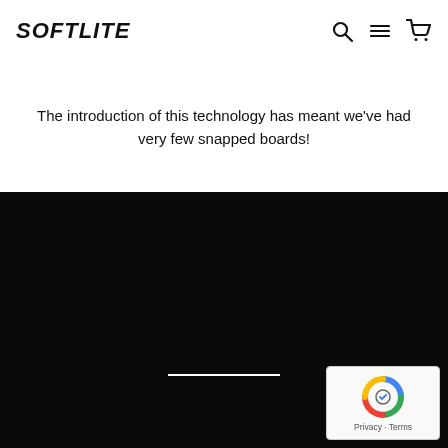SOFTLITE
The introduction of this technology has meant we've had very few snapped boards!
[Figure (screenshot): Dark black background section of a website with a white horizontal line in the center and a reCAPTCHA badge in the bottom right corner]